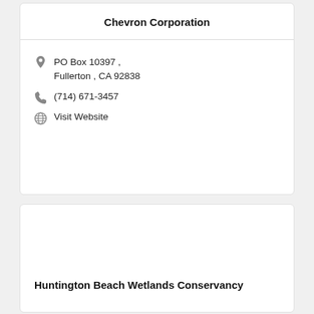Chevron Corporation
PO Box 10397 , Fullerton , CA 92838
(714) 671-3457
Visit Website
Huntington Beach Wetlands Conservancy